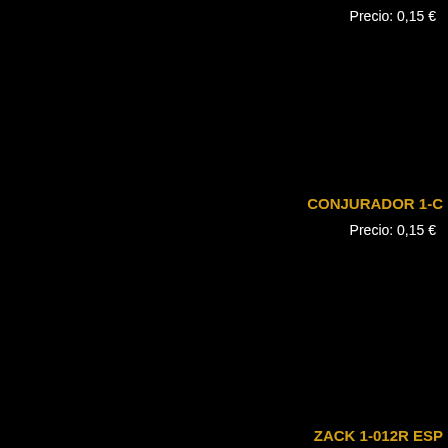Precio: 0,15 €
CONJURADOR 1-C
Precio: 0,15 €
ZACK 1-012R ESP